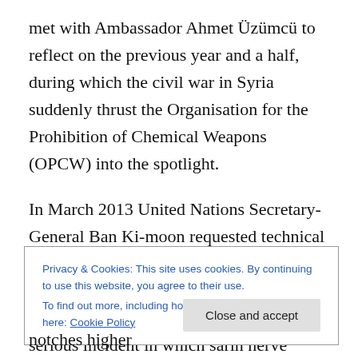met with Ambassador Ahmet Üzümcü to reflect on the previous year and a half, during which the civil war in Syria suddenly thrust the Organisation for the Prohibition of Chemical Weapons (OPCW) into the spotlight.
In March 2013 United Nations Secretary-General Ban Ki-moon requested technical assistance from the OPCW to investigate alleged chemical weapon (CW) use in the war-torn country. Six months later, after a serious incident in which sarin nerve agent killed and poisoned many hundreds of people in the Ghouta district of Damascus,
Privacy & Cookies: This site uses cookies. By continuing to use this website, you agree to their use.
To find out more, including how to control cookies, see here: Cookie Policy
notches higher